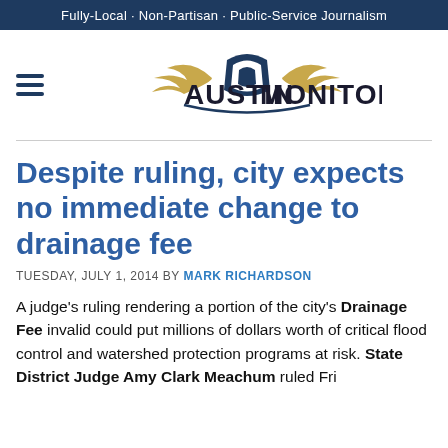Fully-Local · Non-Partisan · Public-Service Journalism
[Figure (logo): Austin Monitor logo with stylized winged emblem above the text AUSTIN MONITOR]
Despite ruling, city expects no immediate change to drainage fee
TUESDAY, JULY 1, 2014 BY MARK RICHARDSON
A judge's ruling rendering a portion of the city's Drainage Fee invalid could put millions of dollars worth of critical flood control and watershed protection programs at risk. State District Judge Amy Clark Meachum ruled Fri...